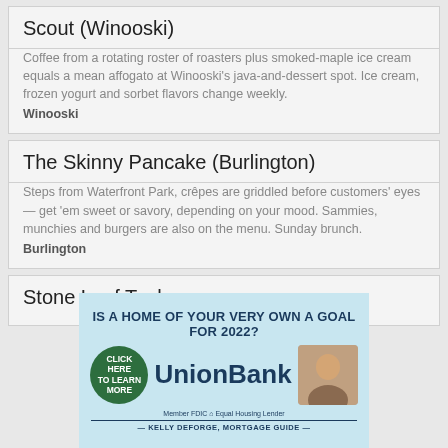Scout (Winooski)
Coffee from a rotating roster of roasters plus smoked-maple ice cream equals a mean affogato at Winooski's java-and-dessert spot. Ice cream, frozen yogurt and sorbet flavors change weekly.
Winooski
The Skinny Pancake (Burlington)
Steps from Waterfront Park, crêpes are griddled before customers' eyes — get 'em sweet or savory, depending on your mood. Sammies, munchies and burgers are also on the menu. Sunday brunch.
Burlington
Stone Leaf Teahouse
[Figure (infographic): UnionBank advertisement. Headline: IS A HOME OF YOUR VERY OWN A GOAL FOR 2022? Green circle button: CLICK HERE to learn more. UnionBank logo in dark blue. Member FDIC Equal Housing Lender. Kelly DeForge, Mortgage Guide. Photo of a smiling woman.]